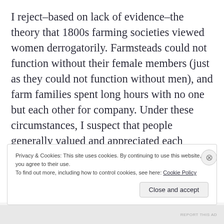I reject–based on lack of evidence–the theory that 1800s farming societies viewed women derrogatorily. Farmsteads could not function without their female members (just as they could not function without men), and farm families spent long hours with no one but each other for company. Under these circumstances, I suspect that people generally valued and appreciated each other's contributions, rather than engage in dumb fights over whether or not women were good at
Privacy & Cookies: This site uses cookies. By continuing to use this website, you agree to their use.
To find out more, including how to control cookies, see here: Cookie Policy
Close and accept
REPORT THIS AD